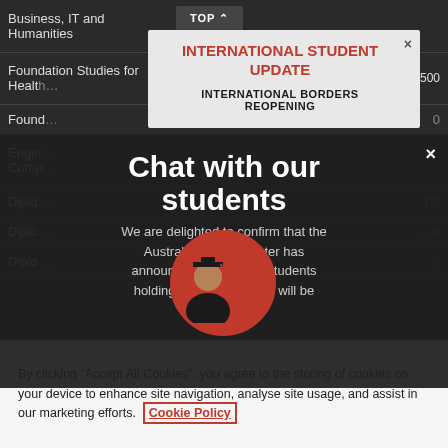| Program | Duration | Fee |
| --- | --- | --- |
| Business, IT and Humanities |  |  |
| Foundation Studies for Health | N/A | A$24,500 |
| Foundation Studies |  |  |
| Engineering / Computing |  |  |
| Diploma |  |  |
| Diploma |  |  |
| Diploma |  |  |
[Figure (screenshot): International Student Update modal overlay with title 'INTERNATIONAL STUDENT UPDATE' and close button, with subtitle 'INTERNATIONAL BORDERS REOPENING']
[Figure (screenshot): Chat with our students modal overlay with dark background, large heading 'Chat with our students', body text about Australian Minister announcement regarding international student visa, and circular photo of graduate student]
By clicking "Accept All Cookies", you agree to the storing of cookies on your device to enhance site navigation, analyse site usage, and assist in our marketing efforts. Cookie Policy